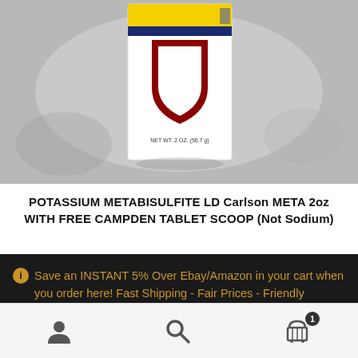[Figure (photo): Product photo of Potassium Metabisulfite LD Carlson META 2oz package with yellow, navy, and red label design. Package shows NET WT. 2 OZ. (56.7 g).]
POTASSIUM METABISULFITE LD Carlson META 2oz WITH FREE CAMPDEN TABLET SCOOP (Not Sodium)
Save an INSTANT 5% Over Ebay/Amazon in your cart when you order here! Fast Shipping - Fair Prices - Friendly Service!
Dismiss